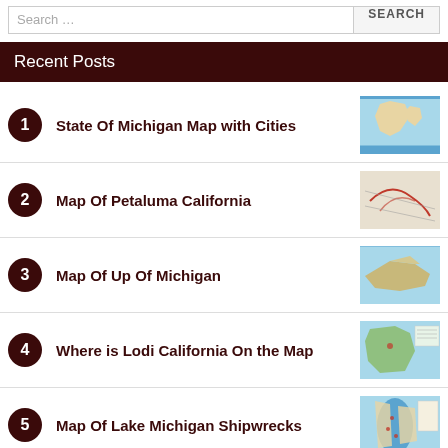Recent Posts
State Of Michigan Map with Cities
Map Of Petaluma California
Map Of Up Of Michigan
Where is Lodi California On the Map
Map Of Lake Michigan Shipwrecks